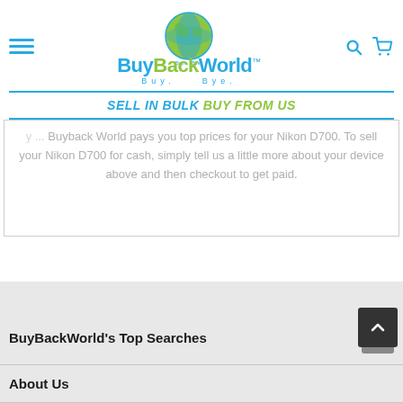BuyBackWorld — SELL IN BULK BUY FROM US
Nikon D700. To sell your Nikon D700 for cash, simply tell us a little more about your device above and then checkout to get paid.
BuyBackWorld's Top Searches
About Us